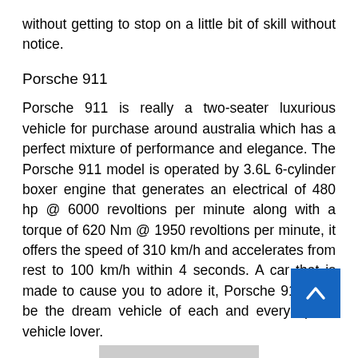without getting to stop on a little bit of skill without notice.
Porsche 911
Porsche 911 is really a two-seater luxurious vehicle for purchase around australia which has a perfect mixture of performance and elegance. The Porsche 911 model is operated by 3.6L 6-cylinder boxer engine that generates an electrical of 480 hp @ 6000 revoltions per minute along with a torque of 620 Nm @ 1950 revoltions per minute, it offers the speed of 310 km/h and accelerates from rest to 100 km/h within 4 seconds. A car that is made to cause you to adore it, Porsche 911 may be the dream vehicle of each and every sports vehicle lover.